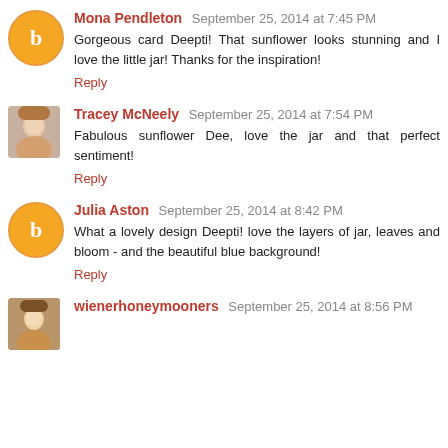Mona Pendleton September 25, 2014 at 7:45 PM
Gorgeous card Deepti! That sunflower looks stunning and I love the little jar! Thanks for the inspiration!
Reply
Tracey McNeely September 25, 2014 at 7:54 PM
Fabulous sunflower Dee, love the jar and that perfect sentiment!
Reply
Julia Aston September 25, 2014 at 8:42 PM
What a lovely design Deepti! love the layers of jar, leaves and bloom - and the beautiful blue background!
Reply
wienerhoneymooners September 25, 2014 at 8:56 PM